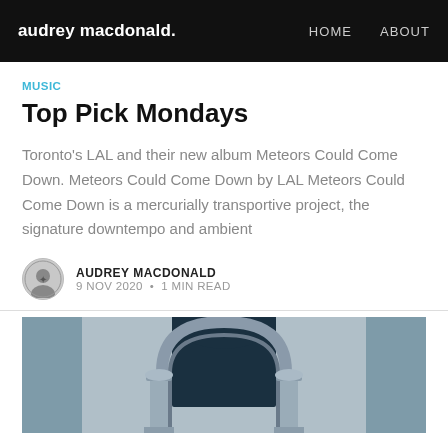audrey macdonald.  HOME  ABOUT
MUSIC
Top Pick Mondays
Toronto's LAL and their new album Meteors Could Come Down. Meteors Could Come Down by LAL Meteors Could Come Down is a mercurially transportive project, the signature downtempo and ambient
AUDREY MACDONALD
9 NOV 2020 • 1 MIN READ
[Figure (photo): Architectural image showing a stone archway with columns, in a dark teal/blue tone, partially visible at bottom of page.]